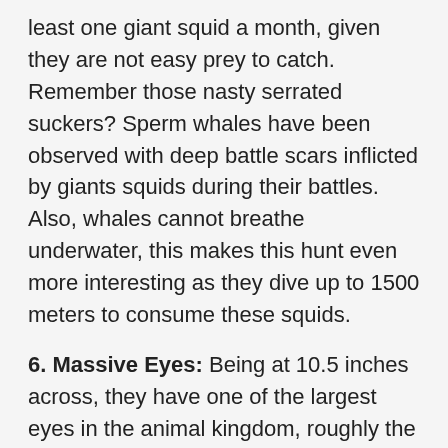least one giant squid a month, given they are not easy prey to catch. Remember those nasty serrated suckers? Sperm whales have been observed with deep battle scars inflicted by giants squids during their battles. Also, whales cannot breathe underwater, this makes this hunt even more interesting as they dive up to 1500 meters to consume these squids.
6. Massive Eyes: Being at 10.5 inches across, they have one of the largest eyes in the animal kingdom, roughly the same size as a dinner plate. But unlike most animal eyes that are spherical, they have a different types of eyes. Their eyes are filled with a jelly-like substance that holds the structure of the eye as long as the squid is alive, as soon as it dies, their eyes collapse. It seems evolution chose these